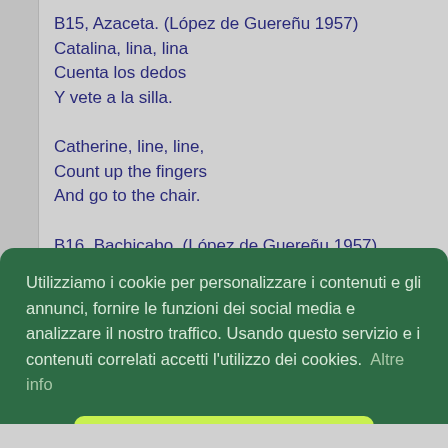B15, Azaceta. (López de Guereñu 1957)
Catalina, lina, lina
Cuenta los dedos
Y vete a la silla.

Catherine, line, line,
Count up the fingers
And go to the chair.

B16, Bachicabo. (López de Guereñu 1957)
Mariposita, mariposita,
Cuéntame los dedos,
Si no me los cuentas,
Utilizziamo i cookie per personalizzare i contenuti e gli annunci, fornire le funzioni dei social media e analizzare il nostro traffico. Usando questo servizio e i contenuti correlati accetti l'utilizzo dei cookies.  Altre info

Accetta